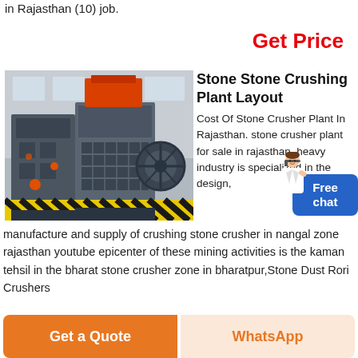in Rajasthan (10) job.
Get Price
[Figure (photo): Industrial stone crushing machine in a factory setting, large grey machinery with orange accent parts and flywheel visible]
Stone Stone Crushing Plant Layout
Cost Of Stone Crusher Plant In Rajasthan. stone crusher plant for sale in rajasthan. heavy industry is specialized in the design, manufacture and supply of crushing stone crusher in nangal zone rajasthan youtube epicenter of these mining activities is the kaman tehsil in the bharat stone crusher zone in bharatpur,Stone Dust Rori Crushers
Get Pri...
Get a Quote
WhatsApp